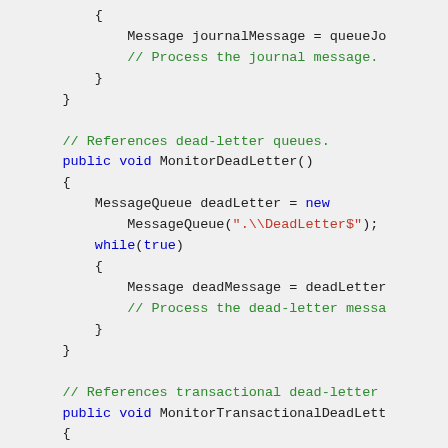[Figure (screenshot): Code snippet in C# showing journal message processing, MonitorDeadLetter method with dead-letter queue reference, and MonitorTransactionalDeadLetter method with transactional dead-letter queue reference. Syntax highlighted with blue keywords, green comments, and red string literals on a light gray background.]